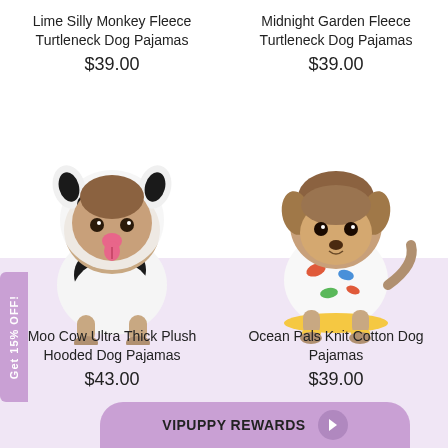Lime Silly Monkey Fleece Turtleneck Dog Pajamas
$39.00
Midnight Garden Fleece Turtleneck Dog Pajamas
$39.00
[Figure (photo): Small Yorkshire Terrier dog wearing a black and white cow-patterned hooded plush pajama costume with ears]
[Figure (photo): Small Yorkshire Terrier dog wearing a white knit cotton pajama with colorful fish/ocean print and yellow trim]
Moo Cow Ultra Thick Plush Hooded Dog Pajamas
$43.00
Ocean Pals Knit Cotton Dog Pajamas
$39.00
VIPUPPY REWARDS
Get 15% OFF!